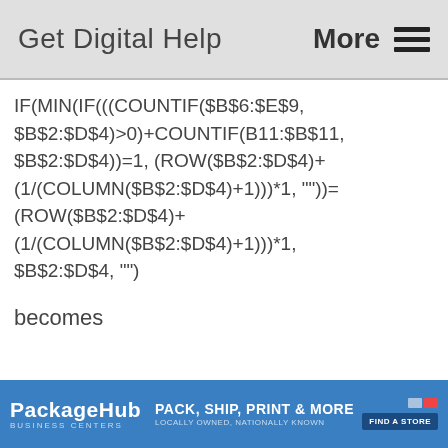Get Digital Help   More ☰
becomes
[Figure (other): PackageHub advertisement banner — Pack, Ship, Print & More, Business Centers, Locally Owned, Nationally Known, Find a Store button]